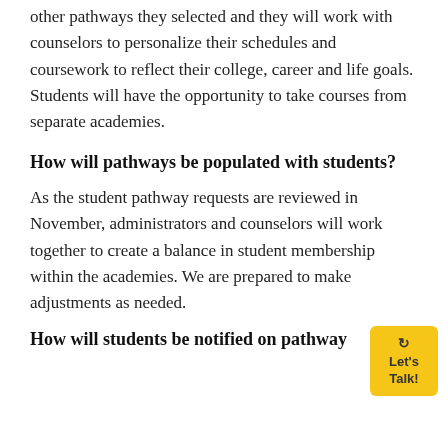other pathways they selected and they will work with counselors to personalize their schedules and coursework to reflect their college, career and life goals. Students will have the opportunity to take courses from separate academies.
How will pathways be populated with students?
As the student pathway requests are reviewed in November, administrators and counselors will work together to create a balance in student membership within the academies. We are prepared to make adjustments as needed.
How will students be notified on pathway